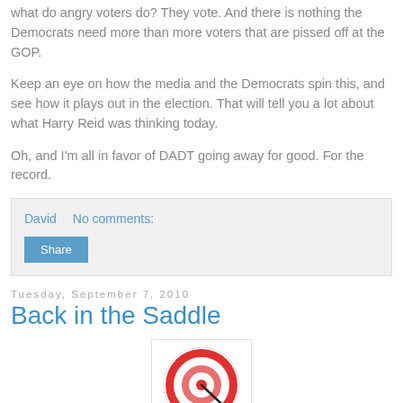what do angry voters do? They vote. And there is nothing the Democrats need more than more voters that are pissed off at the GOP.
Keep an eye on how the media and the Democrats spin this, and see how it plays out in the election. That will tell you a lot about what Harry Reid was thinking today.
Oh, and I'm all in favor of DADT going away for good. For the record.
David   No comments:
Tuesday, September 7, 2010
Back in the Saddle
[Figure (illustration): A red and white bullseye/target icon]